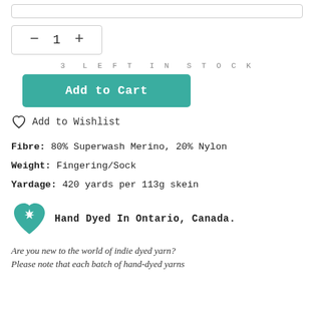(top bar / search or input field)
- 1 + (quantity selector)
3 LEFT IN STOCK
Add to Cart
Add to Wishlist
Fibre: 80% Superwash Merino, 20% Nylon
Weight: Fingering/Sock
Yardage: 420 yards per 113g skein
Hand Dyed In Ontario, Canada.
Are you new to the world of indie dyed yarn? Please note that each batch of hand-dyed yarns